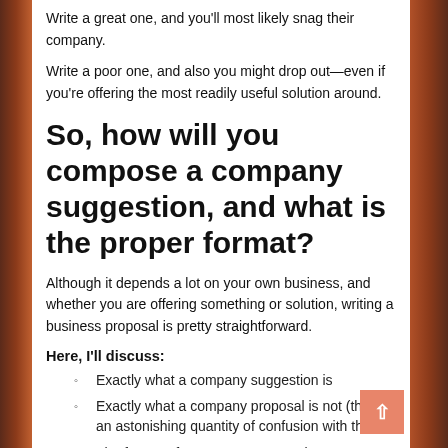Write a great one, and you'll most likely snag their company.
Write a poor one, and also you might drop out—even if you're offering the most readily useful solution around.
So, how will you compose a company suggestion, and what is the proper format?
Although it depends a lot on your own business, and whether you are offering something or solution, writing a business proposal is pretty straightforward.
Here, I'll discuss:
Exactly what a company suggestion is
Exactly what a company proposal is not (there's an astonishing quantity of confusion with this!)
The format of a company suggestion
How long which will make your company